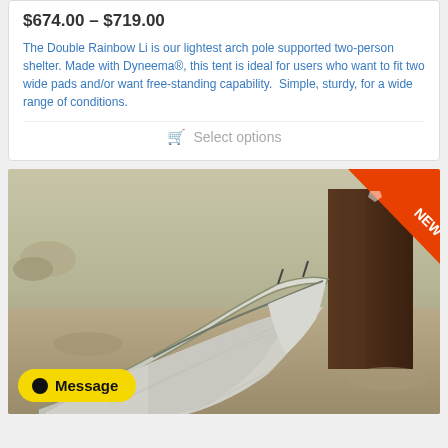$674.00 – $719.00
The Double Rainbow Li is our lightest arch pole supported two-person shelter. Made with Dyneema®, this tent is ideal for users who want to fit two wide pads and/or want free-standing capability.  Simple, sturdy, for a wide range of conditions.
Select options
[Figure (photo): Outdoor photo of a light gray/silver ultralight tent with arch pole design set in an arid rocky landscape with a large tree trunk visible in background. A red 'NEW' badge triangle is in the upper right corner.]